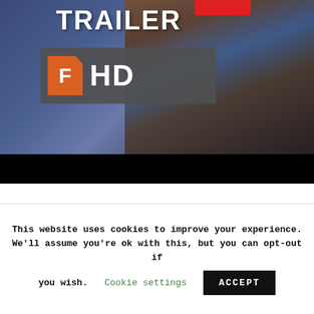[Figure (screenshot): Movie trailer thumbnail showing a woman with curly blonde hair in a blue jacket, with text 'TRAILER' and 'HD' with a Fandango logo overlay, and a black bar at the bottom]
If you're looking for a funny and more adult Christmas movie to watch then this is a great choice.
It follows three Mom's – Amy, Kiki and Carla. They all have their mother's coming over for Christmas. And they decided to rebel against the huge burden of arranging Christmas for their respective families.
This website uses cookies to improve your experience. We'll assume you're ok with this, but you can opt-out if you wish. Cookie settings ACCEPT